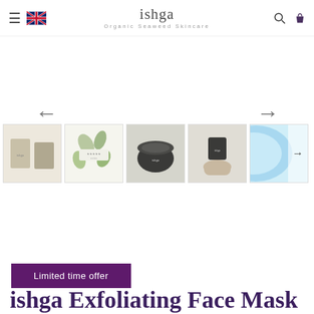ishga — Organic Seaweed Skincare
[Figure (screenshot): Product image carousel area (blank white main area with left and right navigation arrows, and a row of 5 product thumbnail images below)]
Limited time offer
ishga Exfoliating Face Mask